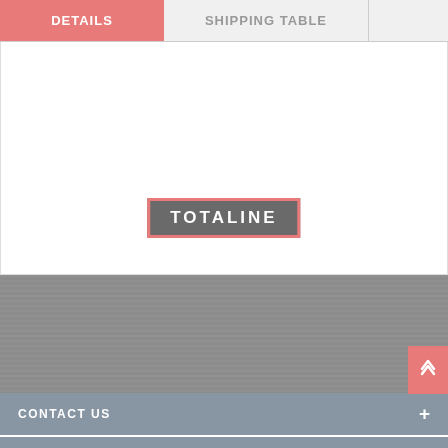DETAILS
SHIPPING TABLE
[Figure (logo): TOTALINE brand logo — white bold uppercase text on dark gray background with pink/red border outline]
CONTACT US
INFORMATION